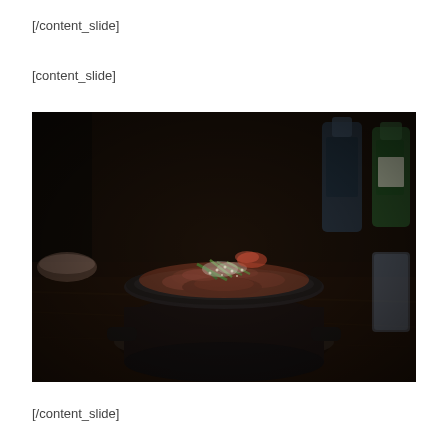[/content_slide]
[content_slide]
[Figure (photo): A dark stone pot (dolsot) filled with cooked meat and garnished with green onions and sesame seeds, placed on a dark wooden table with bottles in the blurred background]
[/content_slide]